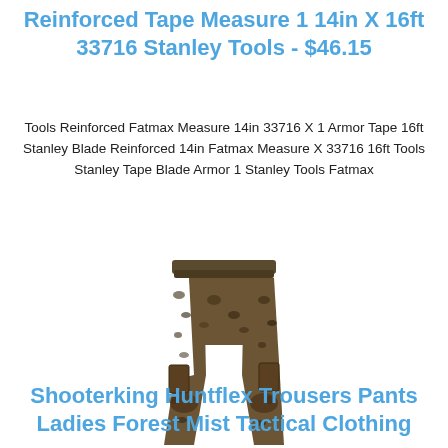Reinforced Tape Measure 1 14in X 16ft 33716 Stanley Tools - $46.15
Tools Reinforced Fatmax Measure 14in 33716 X 1 Armor Tape 16ft Stanley Blade Reinforced 14in Fatmax Measure X 33716 16ft Tools Stanley Tape Blade Armor 1 Stanley Tools Fatmax
[Figure (photo): Product photo of camouflage tactical trousers/pants in forest mist pattern, shown from front angle.]
Shooterking Huntflex Trousers Pants Ladies Forest Mist Tactical Clothing